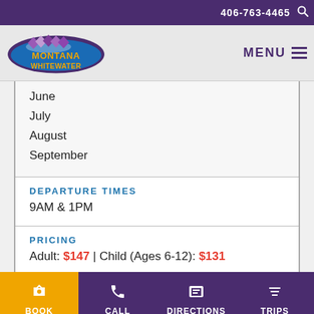406-763-4465
[Figure (logo): Montana Whitewater logo with purple oval and gold text]
June
July
August
September
DEPARTURE TIMES
9AM & 1PM
PRICING
Adult: $147 | Child (Ages 6-12): $131
BOOK  CALL  DIRECTIONS  TRIPS